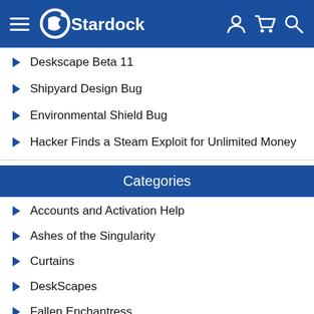Stardock
Deskscape Beta 11
Shipyard Design Bug
Environmental Shield Bug
Hacker Finds a Steam Exploit for Unlimited Money
Categories
Accounts and Activation Help
Ashes of the Singularity
Curtains
DeskScapes
Fallen Enchantress
Fences
Forum Issues
Galactic Civilizations Series
Groupy